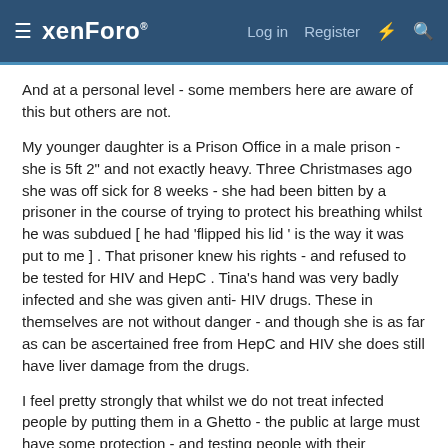xenForo  Log in  Register
And at a personal level - some members here are aware of this but others are not.
My younger daughter is a Prison Office in a male prison - she is 5ft 2" and not exactly heavy. Three Christmases ago she was off sick for 8 weeks - she had been bitten by a prisoner in the course of trying to protect his breathing whilst he was subdued [ he had 'flipped his lid ' is the way it was put to me ] . That prisoner knew his rights - and refused to be tested for HIV and HepC . Tina's hand was very badly infected and she was given anti- HIV drugs. These in themselves are not without danger - and though she is as far as can be ascertained free from HepC and HIV she does still have liver damage from the drugs.
I feel pretty strongly that whilst we do not treat infected people by putting them in a Ghetto - the public at large must have some protection - and testing people with their permisson is one way of doing this.